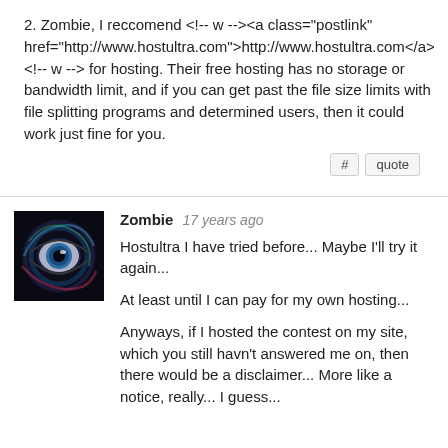2. Zombie, I reccomend <!-- w --><a class="postlink" href="http://www.hostultra.com">http://www.hostultra.com</a><!-- w --> for hosting. Their free hosting has no storage or bandwidth limit, and if you can get past the file size limits with file splitting programs and determined users, then it could work just fine for you.
Zombie 17 years ago
Hostultra I have tried before... Maybe I'll try it again...
At least until I can pay for my own hosting...
Anyways, if I hosted the contest on my site, which you still havn't answered me on, then there would be a disclaimer... More like a notice, really... I guess...